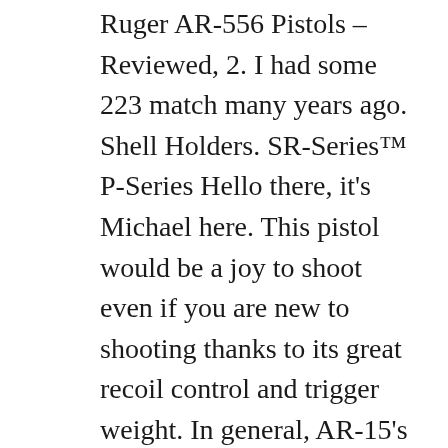Ruger AR-556 Pistols – Reviewed, 2. I had some 223 match many years ago. Shell Holders. SR-Series™ P-Series Hello there, it's Michael here. This pistol would be a joy to shoot even if you are new to shooting thanks to its great recoil control and trigger weight. In general, AR-15's have very little recoil due to the small ammunition they use and their design. 1. Choose a gun weight appropriate for the loads you intend to shoot. The Ruger AR-556 Pistol's handguard is free-floating for improved accuracy. If you didn't know, PSA (Palmetto State Armory) has been well known for being one of the best platforms for purchasing firearms and firearm components online whilst offering great quality firearms and firearm components at an extremely affordable price. PSA 10.5" Carbine-length 5.56 NATO 1/7 Nitride